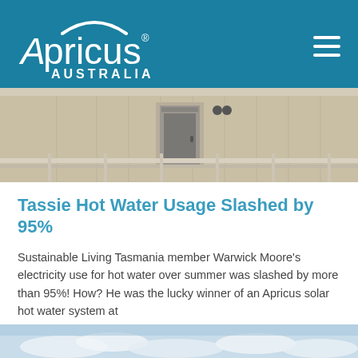[Figure (logo): Apricus Australia logo in white on teal/blue background with arc graphic above text]
[Figure (photo): Photograph of a beige/cream coloured building exterior with a door and fence railing visible]
Tassie Hot Water Usage Slashed by 95%
Sustainable Living Tasmania member Warwick Moore's electricity use for hot water over summer was slashed by more than 95%! How? He was the lucky winner of an Apricus solar hot water system at
[Figure (photo): Partial photo at bottom of page showing sky and clouds]